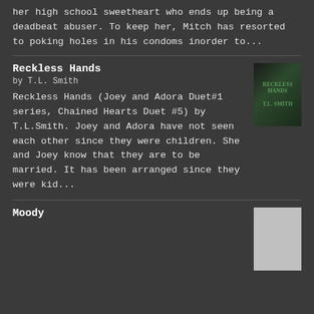her high school sweetheart who ends up being a deadbeat abuser. To keep her, Mitch has resorted to poking holes in his condoms inorder to...
Reckless Hands
by T.L. Smith
[Figure (illustration): Book cover for Reckless Hands showing dark moody cover with green accents and a figure]
Reckless Hands (Joey and Adora Duet#1 series, Chained Hearts Duet #5) by T.L.Smith. Joey and Adora have not seen each other since they were children. She and Joey know that they are to be married. It has been arranged since they were kid...
Moody
[Figure (photo): Black and white photo of a person for the book Moody]